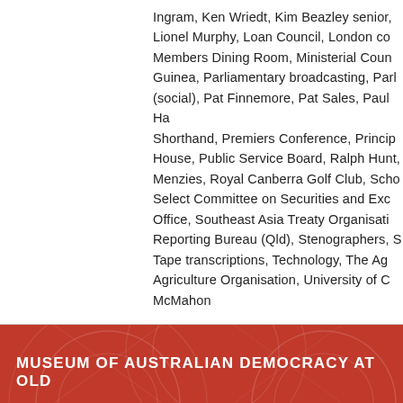Ingram, Ken Wriedt, Kim Beazley senior, Lionel Murphy, Loan Council, London co... Members Dining Room, Ministerial Coun... Guinea, Parliamentary broadcasting, Parl... (social), Pat Finnemore, Pat Sales, Paul Ha... Shorthand, Premiers Conference, Princi... House, Public Service Board, Ralph Hunt, ... Menzies, Royal Canberra Golf Club, Scho... Select Committee on Securities and Exc... Office, Southeast Asia Treaty Organisati... Reporting Bureau (Qld), Stenographers, S... Tape transcriptions, Technology, The Ag... Agriculture Organisation, University of C... McMahon
MUSEUM OF AUSTRALIAN DEMOCRACY AT OLD